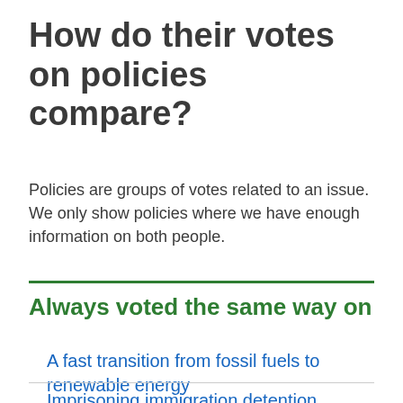How do their votes on policies compare?
Policies are groups of votes related to an issue. We only show policies where we have enough information on both people.
Always voted the same way on
A fast transition from fossil fuels to renewable energy
Imprisoning immigration detention